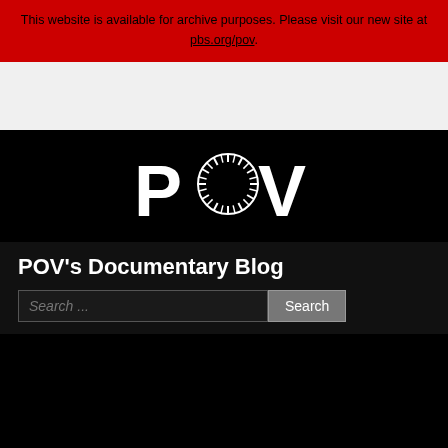This website is available for archive purposes. Please visit our new site at pbs.org/pov.
[Figure (logo): POV documentary series logo in white on black background — bold text POV with a circular striped O]
POV's Documentary Blog
Search ...  [Search button]
craft